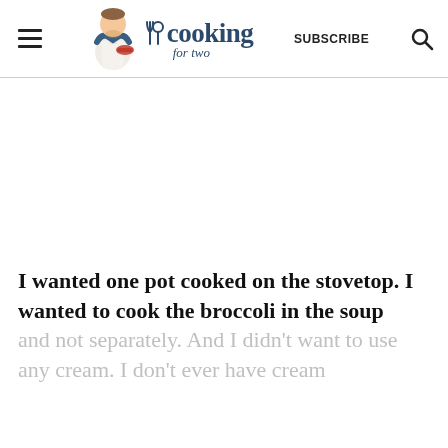cooking for two | SUBSCRIBE
[Figure (other): White advertisement/content space below the header]
I wanted one pot cooked on the stovetop. I wanted to cook the broccoli in the soup and not separately. And I didn't want to use any cream. I don't ever have cream